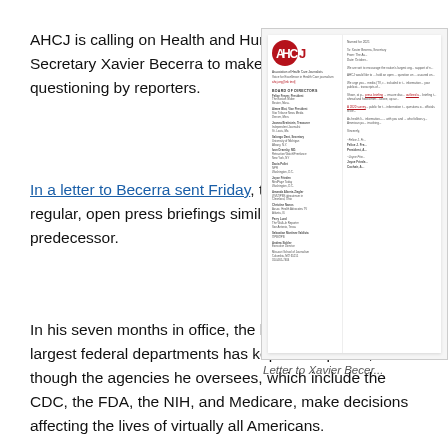AHCJ is calling on Health and Human Services Secretary Xavier Becerra to make himself available for questioning by reporters.
In a letter to Becerra sent Friday, the association urges regular, open press briefings similar to those held by his predecessor.
In his seven months in office, the leader of one of the largest federal departments has kept a low profile, even though the agencies he oversees, which include the CDC, the FDA, the NIH, and Medicare, make decisions affecting the lives of virtually all Americans.
[Figure (photo): Image of a letter from AHCJ (Association of Health Care Journalists) to Xavier Becerra, showing the AHCJ logo, a board of directors list on the left side, and letter content on the right.]
Letter to Xavier Becer...